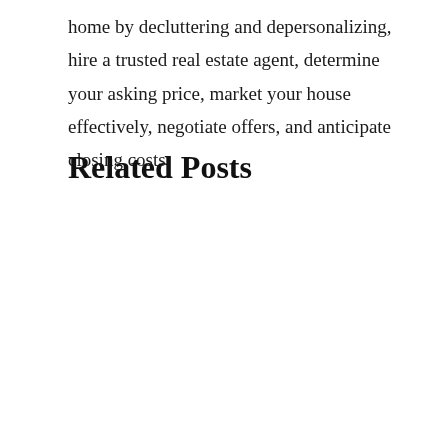home by decluttering and depersonalizing, hire a trusted real estate agent, determine your asking price, market your house effectively, negotiate offers, and anticipate closing costs.
Related Posts